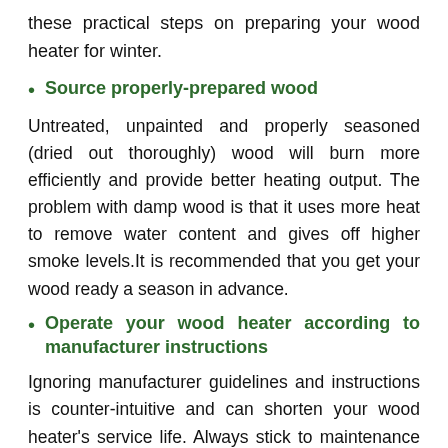these practical steps on preparing your wood heater for winter.
Source properly-prepared wood
Untreated, unpainted and properly seasoned (dried out thoroughly) wood will burn more efficiently and provide better heating output. The problem with damp wood is that it uses more heat to remove water content and gives off higher smoke levels.It is recommended that you get your wood ready a season in advance.
Operate your wood heater according to manufacturer instructions
Ignoring manufacturer guidelines and instructions is counter-intuitive and can shorten your wood heater's service life. Always stick to maintenance procedures